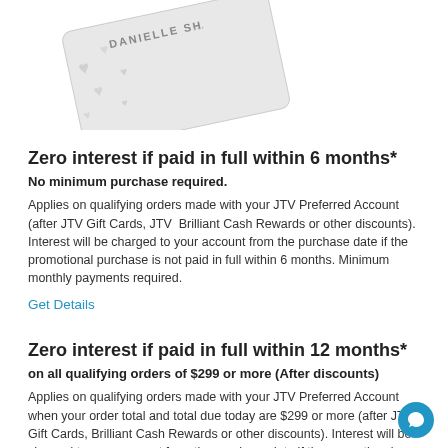[Figure (photo): Partial view of a JTV Preferred Account credit card with name DANIELLE SH... visible, tilted at an angle, white/silver card with heart pattern]
Zero interest if paid in full within 6 months*
No minimum purchase required.
Applies on qualifying orders made with your JTV Preferred Account (after JTV Gift Cards, JTV Brilliant Cash Rewards or other discounts). Interest will be charged to your account from the purchase date if the promotional purchase is not paid in full within 6 months. Minimum monthly payments required.
Get Details
Zero interest if paid in full within 12 months*
on all qualifying orders of $299 or more (After discounts)
Applies on qualifying orders made with your JTV Preferred Account when your order total and total due today are $299 or more (after JTV Gift Cards, Brilliant Cash Rewards or other discounts). Interest will be charged to your account from the purchase date if the promotional